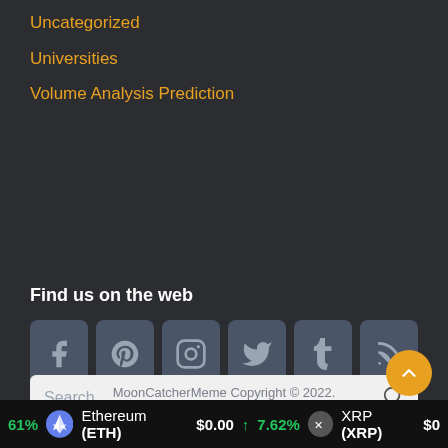Uncategorized
Universities
Volume Analysis Prediction
Find us on the web
[Figure (infographic): Row of 6 social media icon buttons: Facebook, Pinterest, Instagram, Twitter, Tumblr, RSS]
[Figure (infographic): Search bar with placeholder text 'Search' and magnifying glass icon]
MoonCatcherMeme Copyright © 2022.
61% Ethereum (ETH) $0.00 ↑ 7.62% XRP (XRP) $0...